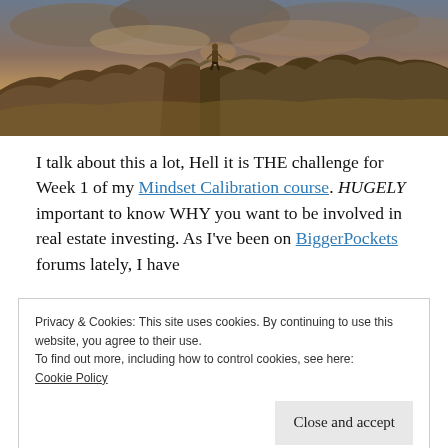[Figure (photo): Person standing on rocky hilltop with dramatic cloudy sky and golden grass landscape]
I talk about this a lot, Hell it is THE challenge for Week 1 of my Mindset Calibration course. HUGELY important to know WHY you want to be involved in real estate investing. As I've been on BiggerPockets forums lately, I have
Privacy & Cookies: This site uses cookies. By continuing to use this website, you agree to their use.
To find out more, including how to control cookies, see here:
Cookie Policy

Close and accept
typically to obtain financial independence